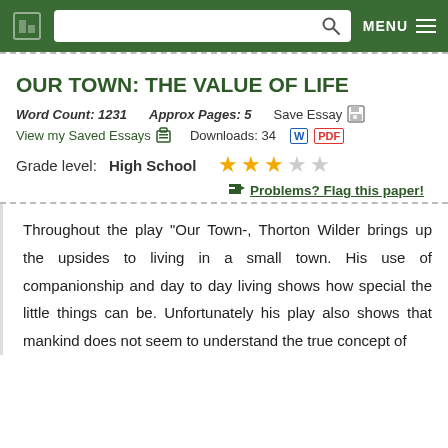OUR TOWN: THE VALUE OF LIFE — site header with search and menu
OUR TOWN: THE VALUE OF LIFE
Word Count: 1231    Approx Pages: 5    Save Essay
View my Saved Essays    Downloads: 34
Grade level: High School  ★★★☆☆
Problems? Flag this paper!
Throughout the play "Our Town-, Thorton Wilder brings up the upsides to living in a small town. His use of companionship and day to day living shows how special the little things can be. Unfortunately his play also shows that mankind does not seem to understand the true concept of